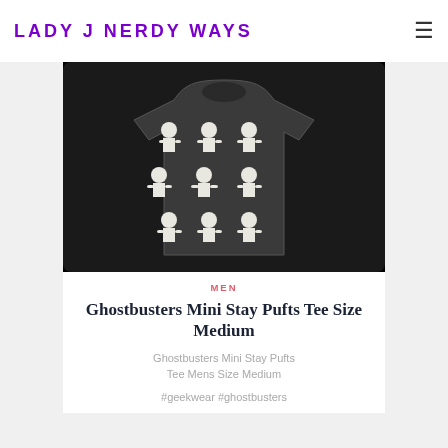LADY J NERDY WAYS
[Figure (photo): A dark grey t-shirt with Ghostbusters Mini Stay Pufts characters printed in a grid pattern on the front]
MEN
Ghostbusters Mini Stay Pufts Tee Size Medium
Ghostbusters Mini Stay Pufts Tee Mens Size Medium
#geekwear #ghostbusters